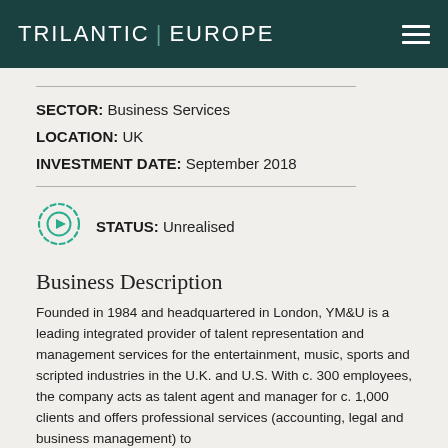TRILANTIC | EUROPE
SECTOR: Business Services
LOCATION: UK
INVESTMENT DATE: September 2018
STATUS: Unrealised
Business Description
Founded in 1984 and headquartered in London, YM&U is a leading integrated provider of talent representation and management services for the entertainment, music, sports and scripted industries in the U.K. and U.S. With c. 300 employees, the company acts as talent agent and manager for c. 1,000 clients and offers professional services (accounting, legal and business management) to